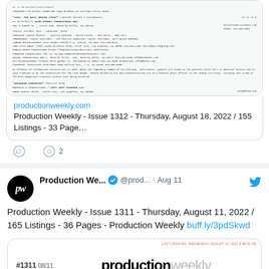[Figure (screenshot): Link preview card showing a Production Weekly document page with text listings]
productionweekly.com
Production Weekly - Issue 1312 - Thursday, August 18, 2022 / 155 Listings - 33 Page...
2 likes
Production We... @prod... · Aug 11
Production Weekly - Issue 1311 - Thursday, August 11, 2022 / 165 Listings - 36 Pages - Production Weekly buff.ly/3pdSkwd
[Figure (screenshot): Production Weekly issue #1311 08/11 link preview with productionweekly logo]